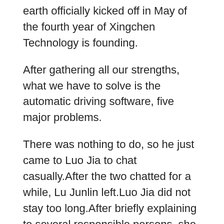earth officially kicked off in May of the fourth year of Xingchen Technology is founding.
After gathering all our strengths, what we have to solve is the automatic driving software, five major problems.
There was nothing to do, so he just came to Luo Jia to chat casually.After the two chatted for a while, Lu Junlin left.Luo Jia did not stay too long.After briefly explaining to several responsible persons, she led everyone back to the company.It was only after nine o clock in the evening.Luo Jia usually went to bed in the second half of the night and woke up before dawn.It was a waste to rest at this time, so he went back to his office and continued to study and work.
Everyone, what you have in your hands is indeed the Swag Male Enhancement Pills blue rhino pill permanent magnet vector motor technology.I invited you today to discuss